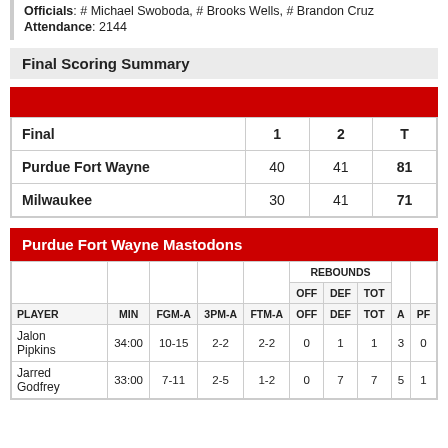Officials: # Michael Swoboda, # Brooks Wells, # Brandon Cruz
Attendance: 2144
Final Scoring Summary
| Final | 1 | 2 | T |
| --- | --- | --- | --- |
| Purdue Fort Wayne | 40 | 41 | 81 |
| Milwaukee | 30 | 41 | 71 |
Purdue Fort Wayne Mastodons
| PLAYER | MIN | FGM-A | 3PM-A | FTM-A | OFF | DEF | TOT | A | PF |
| --- | --- | --- | --- | --- | --- | --- | --- | --- | --- |
| Jalon Pipkins | 34:00 | 10-15 | 2-2 | 2-2 | 0 | 1 | 1 | 3 | 0 |
| Jarred Godfrey | 33:00 | 7-11 | 2-5 | 1-2 | 0 | 7 | 7 | 5 | 1 |